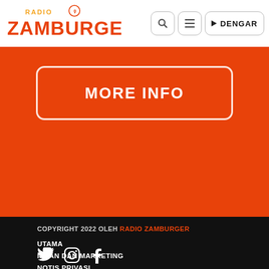[Figure (logo): Radio Zamburger logo with microphone icon in orange/red color]
[Figure (screenshot): Header navigation icons: search, hamburger menu, and DENGAR (listen) button]
MORE INFO
COPYRIGHT 2022 OLEH RADIO ZAMBURGER
UTAMA
IKLAN DAN MARKETING
NOTIS PRIVASI
[Figure (illustration): Social media icons: Twitter bird, Instagram camera, Facebook F logo]